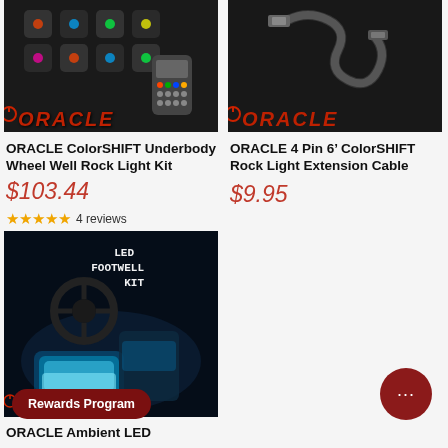[Figure (photo): ORACLE ColorSHIFT Underbody Wheel Well Rock Light Kit product image showing rock lights and remote control on dark background with ORACLE logo overlay]
ORACLE ColorSHIFT Underbody Wheel Well Rock Light Kit
$103.44
[Figure (photo): ORACLE 4 Pin 6' ColorSHIFT Rock Light Extension Cable product image showing cable on dark background with ORACLE logo overlay]
ORACLE 4 Pin 6’ ColorSHIFT Rock Light Extension Cable
$9.95
★★★★★ 4 reviews
[Figure (photo): ORACLE Ambient LED Footwell Kit product image showing blue LED lighting inside a car interior (Mustang) with LED FOOTWELL KIT text overlay and ORACLE logo at bottom]
Rewards Program
ORACLE Ambient LED